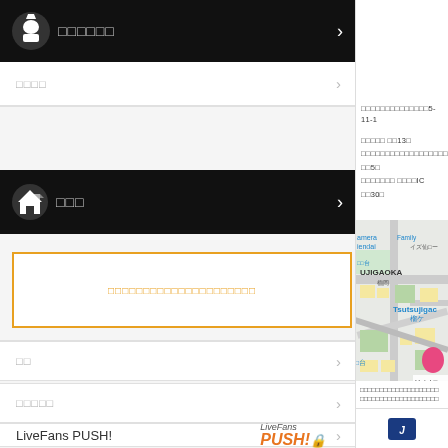□□□□□□
□□□□
□□□
□□□□□□□□□□□□□□□□□□□□□
□□
□□□□□
LiveFans PUSH!
□□□□□□□□
□□□□
□□□□
□□□□□□□□□□□□□□□□□□□□□5-11-1
□□□□□ □□13□
□□□□□□□□□□□□□□□□□□□ □□5□
□□□□□□□ □□□□IC □□30□
[Figure (map): Street map showing Tsutsujigaoka area with pink location pin and Hotel label]